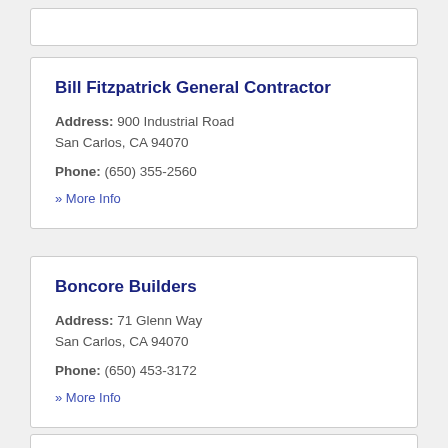Bill Fitzpatrick General Contractor
Address: 900 Industrial Road
San Carlos, CA 94070
Phone: (650) 355-2560
» More Info
Boncore Builders
Address: 71 Glenn Way
San Carlos, CA 94070
Phone: (650) 453-3172
» More Info